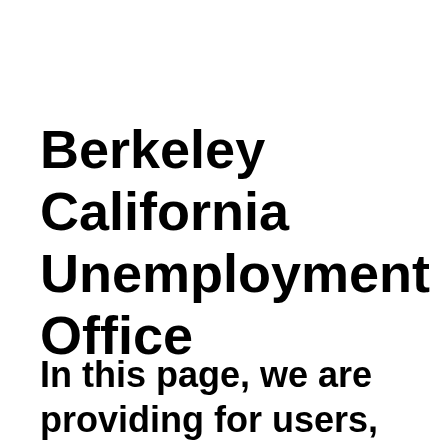Berkeley California Unemployment Office
In this page, we are providing for users, completely free, best,